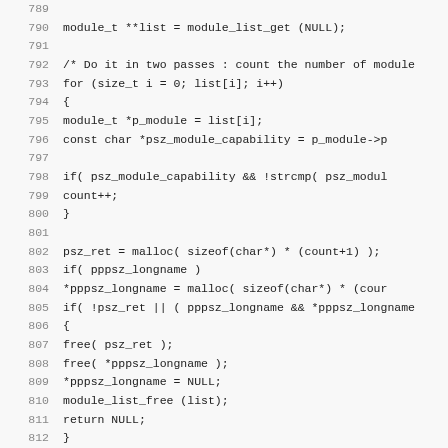[Figure (screenshot): Source code listing in C showing lines 789-821, with line numbers on the left and monospace code on the right. Code includes module_list_get, loops, malloc, free, and module capability checks.]